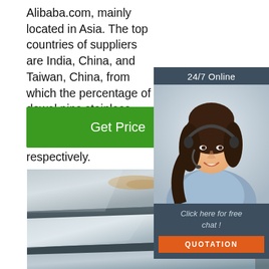Alibaba.com, mainly located in Asia. The top countries of suppliers are India, China, and Taiwan, China, from which the percentage of dowel pins stainless steel supply is 1%, 99%, and 1% respectively.
[Figure (other): Green 'Get Price' button]
[Figure (other): 24/7 online chat widget with woman wearing headset, 'Click here for free chat!' text, and orange QUOTATION button]
[Figure (photo): Stacked stainless steel / metal sheets photograph with TOP badge in bottom right corner]